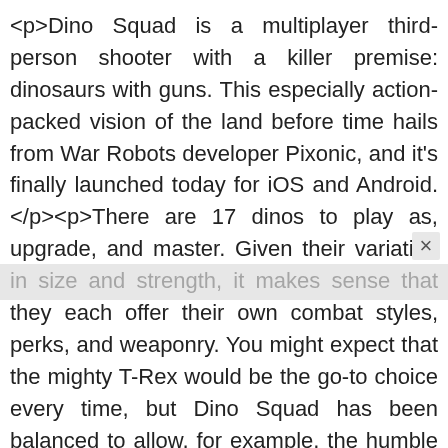<p>Dino Squad is a multiplayer third-person shooter with a killer premise: dinosaurs with guns. This especially action-packed vision of the land before time hails from War Robots developer Pixonic, and it's finally launched today for iOS and Android.</p><p>There are 17 dinos to play as, upgrade, and master. Given their variation in size and strength, it makes sense that they each offer their own combat styles, perks, and weaponry. You might expect that the mighty T-Rex would be the go-to choice every time, but Dino Squad has been balanced to allow, for example, the humble velociraptor to take down even the biggest, most brutish crustaceous kings and queens.</p><p>At your disposal are rail gu...